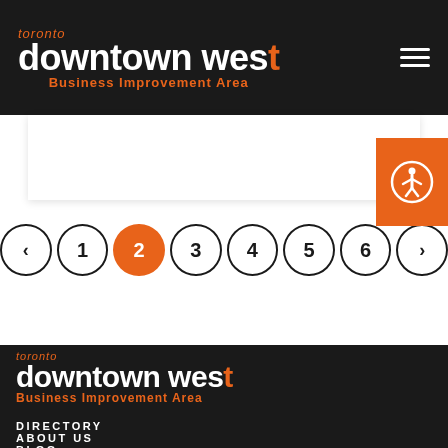toronto downtown west Business Improvement Area
[Figure (other): Accessibility icon button (orange square with white person/accessibility symbol)]
[Figure (other): Pagination navigation: < 1 2(active) 3 4 5 6 >]
[Figure (logo): toronto downtown west Business Improvement Area logo in footer]
DIRECTORY
ABOUT US
BLOG